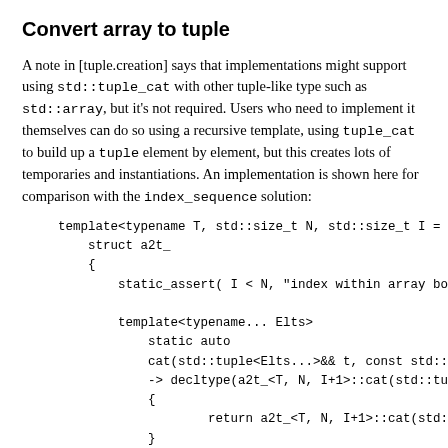Convert array to tuple
A note in [tuple.creation] says that implementations might support using std::tuple_cat with other tuple-like type such as std::array, but it's not required. Users who need to implement it themselves can do so using a recursive template, using tuple_cat to build up a tuple element by element, but this creates lots of temporaries and instantiations. An implementation is shown here for comparison with the index_sequence solution: